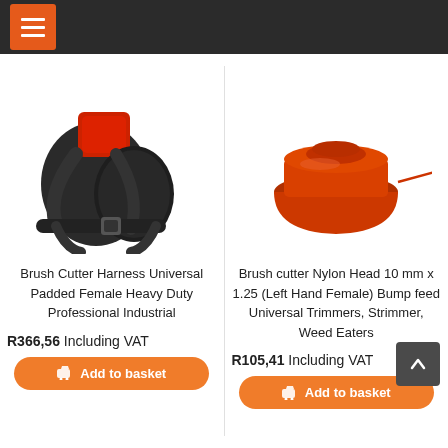[Figure (screenshot): Dark header bar with hamburger menu icon in orange/red square]
[Figure (photo): Brush Cutter Harness - black padded shoulder harness with red padding and circular blade guard]
[Figure (photo): Brush cutter Nylon Head - orange/red plastic spool head with trimmer line]
Brush Cutter Harness Universal Padded Female Heavy Duty Professional Industrial
R366,56 Including VAT
Brush cutter Nylon Head 10 mm x 1.25 (Left Hand Female) Bump feed Universal Trimmers, Strimmer, Weed Eaters
R105,41 Including VAT
Add to basket
Add to basket